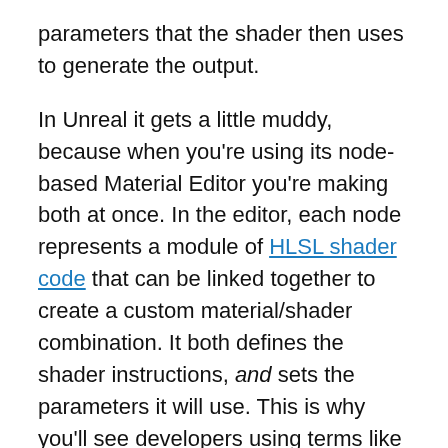parameters that the shader then uses to generate the output.
In Unreal it gets a little muddy, because when you're using its node-based Material Editor you're making both at once. In the editor, each node represents a module of HLSL shader code that can be linked together to create a custom material/shader combination. It both defines the shader instructions, and sets the parameters it will use. This is why you'll see developers using terms like 'material' and 'shader' to mean the same thing.
The most important thing to remember for our purposes is that one material will generate multiple shaders. These are called 'permutations', and we'll go into them in more detail in the next section.